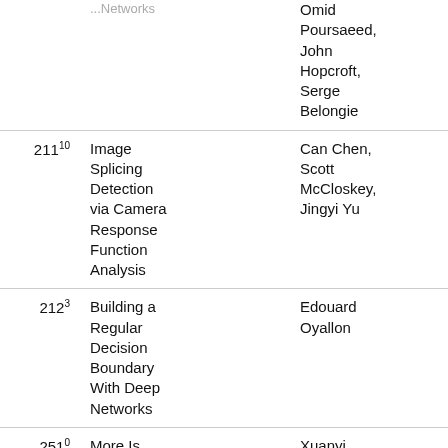|  | Title | Authors |
| --- | --- | --- |
|  | [partial] ...Networks | Omid Poursaeed, John Hopcroft, Serge Belongie |
| 211 | 10 Image Splicing Detection via Camera Response Function Analysis | Can Chen, Scott McCloskey, Jingyi Yu |
| 212 | 3 Building a Regular Decision Boundary With Deep Networks | Edouard Oyallon |
| 251 | 0 More Is ... | Xuanyi ... |